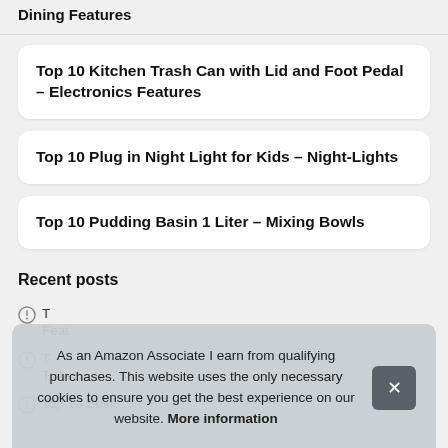Dining Features
Top 10 Kitchen Trash Can with Lid and Foot Pedal – Electronics Features
Top 10 Plug in Night Light for Kids – Night-Lights
Top 10 Pudding Basin 1 Liter – Mixing Bowls
Recent posts
T... Features
T... Toilet...
Top 10 Besto...
As an Amazon Associate I earn from qualifying purchases. This website uses the only necessary cookies to ensure you get the best experience on our website. More information